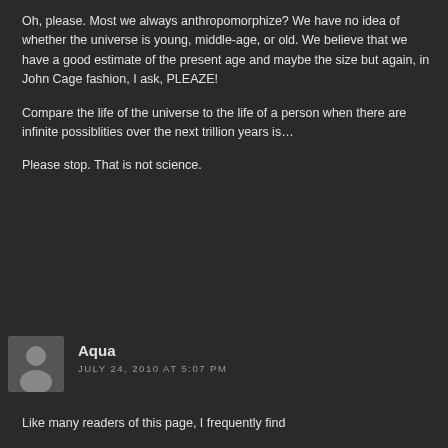Oh, please. Most we always anthropomorphize? We have no idea of whether the universe is young, middle-age, or old. We believe that we have a good estimate of the present age and maybe the size but again, in John Cage fashion, I ask, PLEAZE!
Compare the life of the universe to the life of a person when there are infinite possiblities over the next trillion years is…
Please stop. That is not science.
Aqua
JULY 24, 2010 AT 5:07 PM
Like many readers of this page, I frequently find